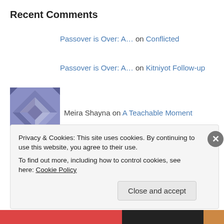Recent Comments
Passover is Over: A… on Conflicted
Passover is Over: A… on Kitniyot Follow-up
Meira Shayna on A Teachable Moment
Adding not Replacing on Here I Am
Yeah, It's All… on The Perfect Mother's Day…
Privacy & Cookies: This site uses cookies. By continuing to use this website, you agree to their use. To find out more, including how to control cookies, see here: Cookie Policy